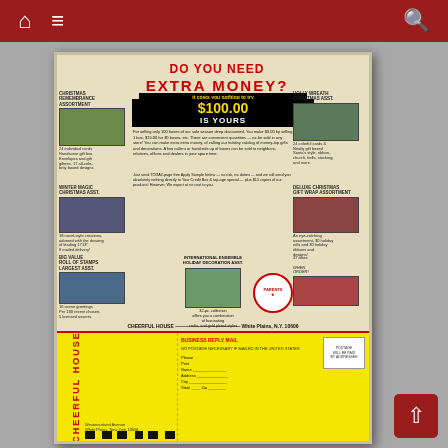Navigation bar with home, menu, and search icons
[Figure (photo): Scanned vintage comic book back cover advertisement for Cheerful House. The ad features the headline 'DO YOU NEED EXTRA MONEY?' in large red text, with '$100.00 IS YOURS' in a black box with yellow text. Various Christmas assortment product boxes are shown around the page. The bottom section is a yellow business reply mail panel for Cheerful House, Westmoreland Avenue, White Plains, New York 10696.]